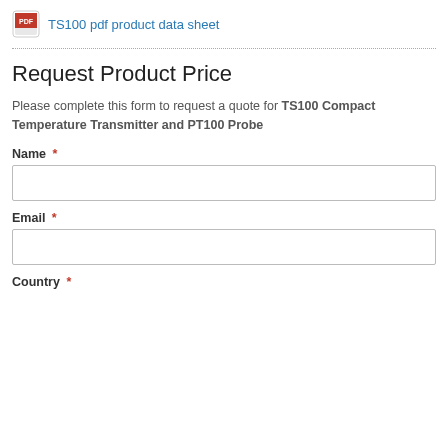TS100 pdf product data sheet
Request Product Price
Please complete this form to request a quote for TS100 Compact Temperature Transmitter and PT100 Probe
Name *
Email *
Country *